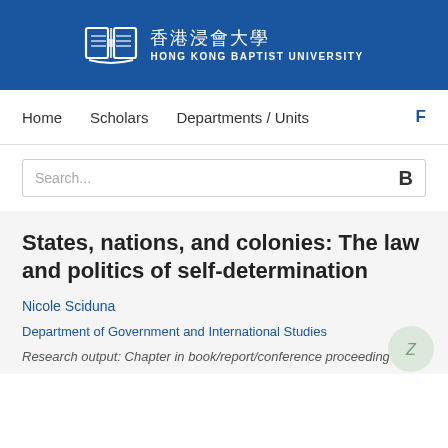[Figure (logo): Hong Kong Baptist University logo with Chinese text 香港浸會大學 and English text HONG KONG BAPTIST UNIVERSITY on blue background]
Home  Scholars  Departments / Units  F
Search...  B
States, nations, and colonies: The law and politics of self-determination
Nicole Sciduna
Department of Government and International Studies
Research output: Chapter in book/report/conference proceeding